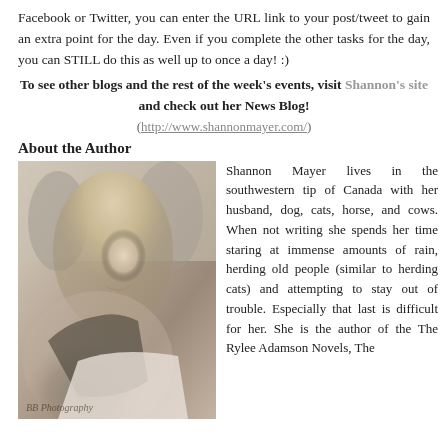Facebook or Twitter, you can enter the URL link to your post/tweet to gain an extra point for the day. Even if you complete the other tasks for the day, you can STILL do this as well up to once a day! :)
To see other blogs and the rest of the week's events, visit Shannon's site and check out her News Blog! (http://www.shannonmayer.com/)
About the Author
[Figure (photo): Black and white / sepia photo of Shannon Mayer, a woman with blonde hair leaning on what appears to be a horse, smiling at the camera. Outdoors with trees in background. Photographer watermark: BB Photography]
Shannon Mayer lives in the southwestern tip of Canada with her husband, dog, cats, horse, and cows. When not writing she spends her time staring at immense amounts of rain, herding old people (similar to herding cats) and attempting to stay out of trouble. Especially that last is difficult for her. She is the author of the The Rylee Adamson Novels, The...